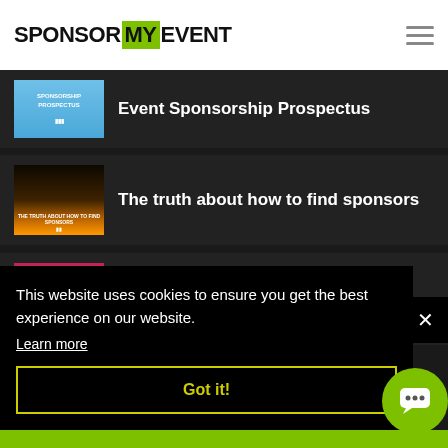SPONSOR MY EVENT
Event Sponsorship Prospectus
The truth about how to find sponsors
5 Pitfalls That Turn Sponsors Off – from the etouches-blog
This website uses cookies to ensure you get the best experience on our website.
Learn more
Got it!